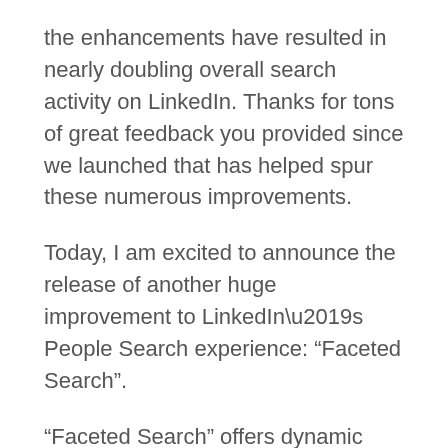the enhancements have resulted in nearly doubling overall search activity on LinkedIn. Thanks for tons of great feedback you provided since we launched that has helped spur these numerous improvements.
Today, I am excited to announce the release of another huge improvement to LinkedIn’s People Search experience: “Faceted Search”.
“Faceted Search” offers dynamic filters that are automatically generated based on your actual query results. These filters let you quickly and easily hone your query over 50 million LinkedIn profiles based on 8 facets: current company, past company, location, relationship, location, industry, school, and profile languages.